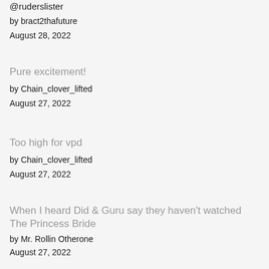@ruderslister
by bract2thafuture
August 28, 2022
Pure excitement!
by Chain_clover_lifted
August 27, 2022
Too high for vpd
by Chain_clover_lifted
August 27, 2022
When I heard Did & Guru say they haven't watched The Princess Bride
by Mr. Rollin Otherone
August 27, 2022